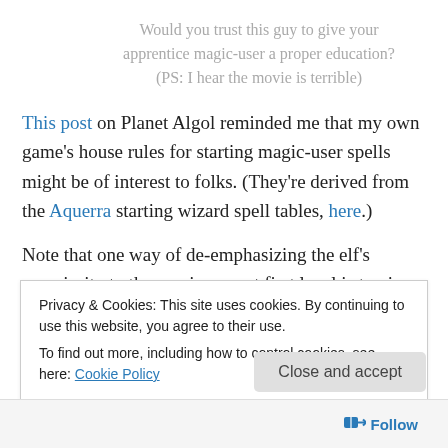Would you trust this guy to give your apprentice magic-user a proper education? (PS: I hear the movie is terrible)
This post on Planet Algol reminded me that my own game's house rules for starting magic-user spells might be of interest to folks. (They're derived from the Aquerra starting wizard spell tables, here.)
Note that one way of de-emphasizing the elf's superiority to the magic-user at first level is to give the elf a single
Privacy & Cookies: This site uses cookies. By continuing to use this website, you agree to their use.
To find out more, including how to control cookies, see here: Cookie Policy